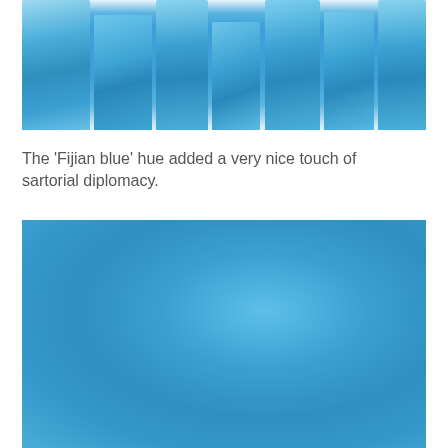[Figure (photo): Photo of blue fabric/cloth draped in vertical folds against a white background, showing a 'Fijian blue' colored textile arranged in multiple pleats or columns.]
The 'Fijian blue' hue added a very nice touch of sartorial diplomacy.
[Figure (photo): Close-up photo of a solid Fijian blue colored fabric or textile surface filling the entire frame.]